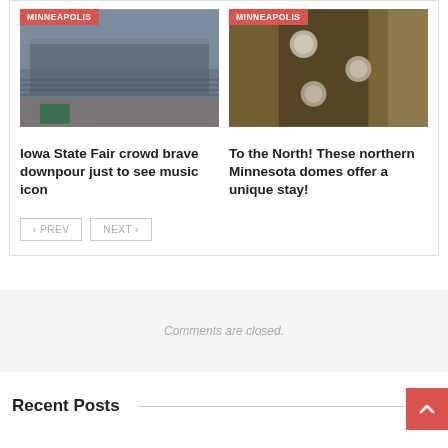[Figure (photo): Photo of Iowa State Fair crowd at a venue with chairs in the rain, city tag MINNEAPOLIS]
[Figure (photo): Aerial photo of northern Minnesota domes in forest, city tag MINNEAPOLIS]
Iowa State Fair crowd brave downpour just to see music icon
To the North! These northern Minnesota domes offer a unique stay!
< PREV
NEXT >
Comments are closed.
Recent Posts